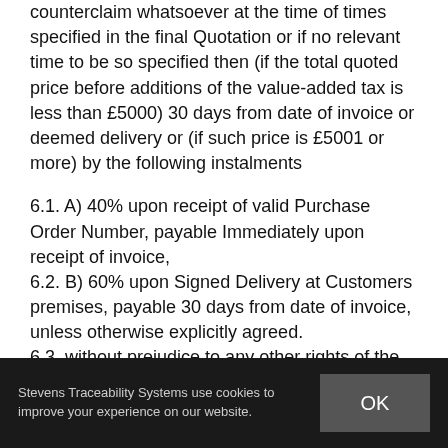counterclaim whatsoever at the time of times specified in the final Quotation or if no relevant time to be so specified then (if the total quoted price before additions of the value-added tax is less than £5000) 30 days from date of invoice or deemed delivery or (if such price is £5001 or more) by the following instalments
6.1. A) 40% upon receipt of valid Purchase Order Number, payable Immediately upon receipt of invoice,
6.2. B) 60% upon Signed Delivery at Customers premises, payable 30 days from date of invoice, unless otherwise explicitly agreed.
6.3. without prejudice to any other rights of the
Stevens Traceability Systems use cookies to improve your experience on our website.